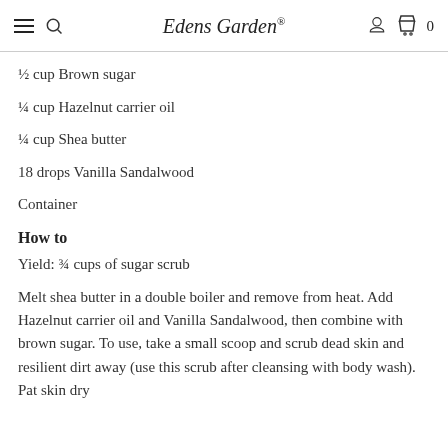Edens Garden®
½ cup Brown sugar
¼ cup Hazelnut carrier oil
¼ cup Shea butter
18 drops Vanilla Sandalwood
Container
How to
Yield: ¾ cups of sugar scrub
Melt shea butter in a double boiler and remove from heat. Add Hazelnut carrier oil and Vanilla Sandalwood, then combine with brown sugar. To use, take a small scoop and scrub dead skin and resilient dirt away (use this scrub after cleansing with body wash). Pat skin dry